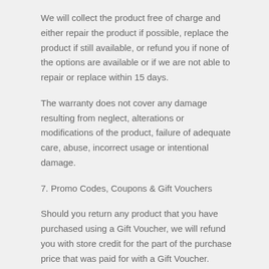We will collect the product free of charge and either repair the product if possible, replace the product if still available, or refund you if none of the options are available or if we are not able to repair or replace within 15 days.
The warranty does not cover any damage resulting from neglect, alterations or modifications of the product, failure of adequate care, abuse, incorrect usage or intentional damage.
7. Promo Codes, Coupons & Gift Vouchers
Should you return any product that you have purchased using a Gift Voucher, we will refund you with store credit for the part of the purchase price that was paid for with a Gift Voucher.